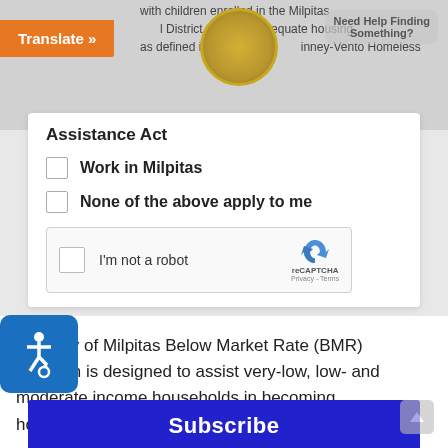with children enrolled in the Milpitas School District, live in inadequate housing, as defined in the federal McKinney-Vento Homeless
Assistance Act
Work in Milpitas
None of the above apply to me
[Figure (other): reCAPTCHA widget with checkbox labeled 'I'm not a robot' and reCAPTCHA logo with Privacy and Terms links]
[Figure (other): Subscribe button, large blue button with white bold text 'Subscribe']
The City of Milpitas Below Market Rate (BMR) Program is designed to assist very-low, low- and moderate income households in becoming homeowners.